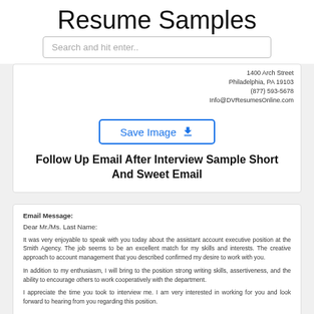Resume Samples
Search and hit enter..
[Figure (screenshot): Partial document showing address: 1400 Arch Street, Philadelphia, PA 19103, (877) 593-5678, Info@DVResumesOnline.com]
[Figure (other): Save Image button with download icon]
Follow Up Email After Interview Sample Short And Sweet Email
Email Message:
Dear Mr./Ms. Last Name:
It was very enjoyable to speak with you today about the assistant account executive position at the Smith Agency. The job seems to be an excellent match for my skills and interests. The creative approach to account management that you described confirmed my desire to work with you.
In addition to my enthusiasm, I will bring to the position strong writing skills, assertiveness, and the ability to encourage others to work cooperatively with the department.
I appreciate the time you took to interview me. I am very interested in working for you and look forward to hearing from you regarding this position.